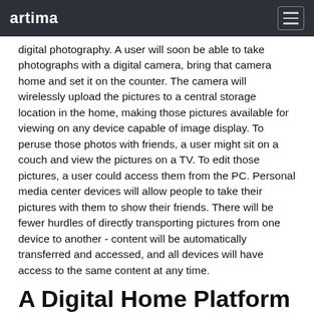artima
digital photography. A user will soon be able to take photographs with a digital camera, bring that camera home and set it on the counter. The camera will wirelessly upload the pictures to a central storage location in the home, making those pictures available for viewing on any device capable of image display. To peruse those photos with friends, a user might sit on a couch and view the pictures on a TV. To edit those pictures, a user could access them from the PC. Personal media center devices will allow people to take their pictures with them to show their friends. There will be fewer hurdles of directly transporting pictures from one device to another - content will be automatically transferred and accessed, and all devices will have access to the same content at any time.
A Digital Home Platform
In addition to entertainment-oriented usages of UPnP technology, companies are developing bridging technology to bring devices located on other networks in the home into the realm of UPnP devices. An example: the powerline